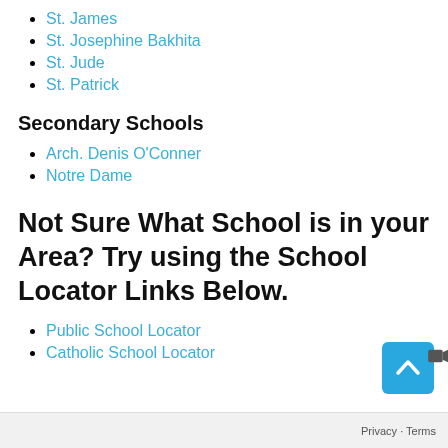St. James
St. Josephine Bakhita
St. Jude
St. Patrick
Secondary Schools
Arch. Denis O'Conner
Notre Dame
Not Sure What School is in your Area? Try using the School Locator Links Below.
Public School Locator
Catholic School Locator
[Figure (screenshot): Scroll-to-top button (blue square with upward chevron) with a video camera icon overlay, and a Privacy · Terms bar at the bottom right.]